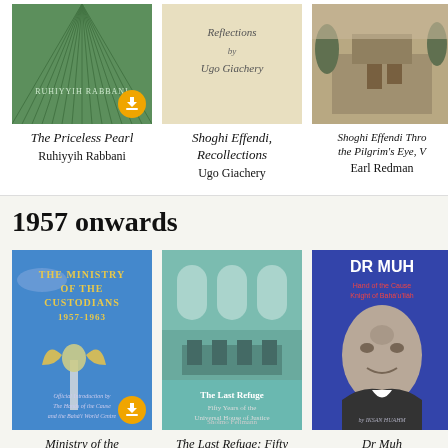[Figure (illustration): Book cover: The Priceless Pearl by Ruhiyyih Rabbani – green cover with sunburst/fan pattern, download button overlay]
The Priceless Pearl
Ruhiyyih Rabbani
[Figure (illustration): Book cover: Shoghi Effendi, Recollections by Ugo Giachery – beige/cream cover with cursive text]
Shoghi Effendi, Recollections
Ugo Giachery
[Figure (illustration): Book cover: Shoghi Effendi Through the Pilgrim's Eye by Earl Redman – sepia photo of building]
Shoghi Effendi Through the Pilgrim's Eye, V
Earl Redman
1957 onwards
[Figure (illustration): Book cover: The Ministry of the Custodians 1957-1963 – blue sky with statue, golden title text, download button]
Ministry of the Custodians 1957-1963
[Figure (illustration): Book cover: The Last Refuge: Fifty Years of the Universal House of Justice – teal interior photo of a room]
The Last Refuge: Fifty Years of the Universal
[Figure (photo): Book cover: Dr Muh... – blue cover with black and white portrait photo of a man]
Dr Muh